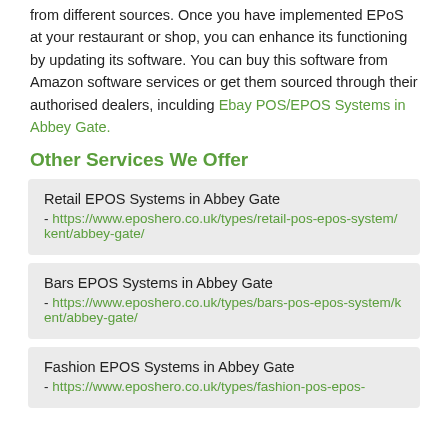from different sources. Once you have implemented EPoS at your restaurant or shop, you can enhance its functioning by updating its software. You can buy this software from Amazon software services or get them sourced through their authorised dealers, inculding Ebay POS/EPOS Systems in Abbey Gate.
Other Services We Offer
Retail EPOS Systems in Abbey Gate - https://www.eposhero.co.uk/types/retail-pos-epos-system/kent/abbey-gate/
Bars EPOS Systems in Abbey Gate - https://www.eposhero.co.uk/types/bars-pos-epos-system/kent/abbey-gate/
Fashion EPOS Systems in Abbey Gate - https://www.eposhero.co.uk/types/fashion-pos-epos-system/kent/abbey-gate/